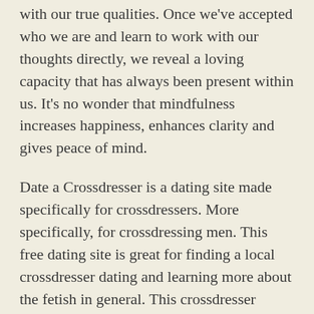with our true qualities. Once we've accepted who we are and learn to work with our thoughts directly, we reveal a loving capacity that has always been present within us. It's no wonder that mindfulness increases happiness, enhances clarity and gives peace of mind.
Date a Crossdresser is a dating site made specifically for crossdressers. More specifically, for crossdressing men. This free dating site is great for finding a local crossdresser dating and learning more about the fetish in general. This crossdresser dating site is set up like a classic dating site where users can look around the site to view thousands of users and find potential dates. Each profile includes a profile picture and a short bio about the user. Members can post crossdressing pictures without